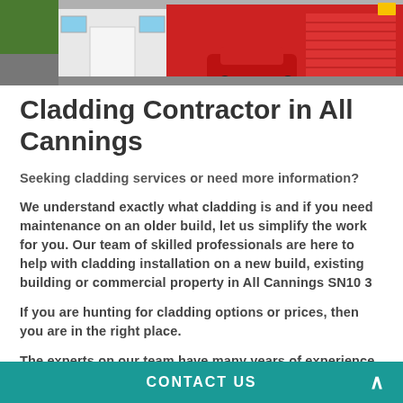[Figure (photo): Exterior photo of a building with red cladding/roller shutters and a parked red car]
Cladding Contractor in All Cannings
Seeking cladding services or need more information?
We understand exactly what cladding is and if you need maintenance on an older build, let us simplify the work for you. Our team of skilled professionals are here to help with cladding installation on a new build, existing building or commercial property in All Cannings SN10 3
If you are hunting for cladding options or prices, then you are in the right place.
The experts on our team have many years of experience
CONTACT US